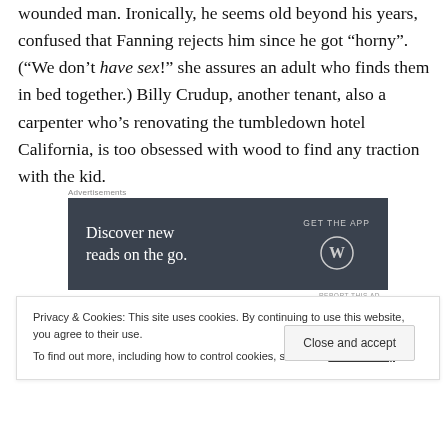wounded man. Ironically, he seems old beyond his years, confused that Fanning rejects him since he got “horny”. (“We don’t have sex!” she assures an adult who finds them in bed together.) Billy Crudup, another tenant, also a carpenter who’s renovating the tumbledown hotel California, is too obsessed with wood to find any traction with the kid.
[Figure (screenshot): WordPress advertisement banner with dark grey background. Left side reads 'Discover new reads on the go.' Right side shows 'GET THE APP' text with WordPress logo (circle W).]
REPORT THIS AD
[Figure (photo): Partial photo strip showing dark figures, appears to be a movie still.]
Privacy & Cookies: This site uses cookies. By continuing to use this website, you agree to their use.
To find out more, including how to control cookies, see here: Cookie Policy
Close and accept